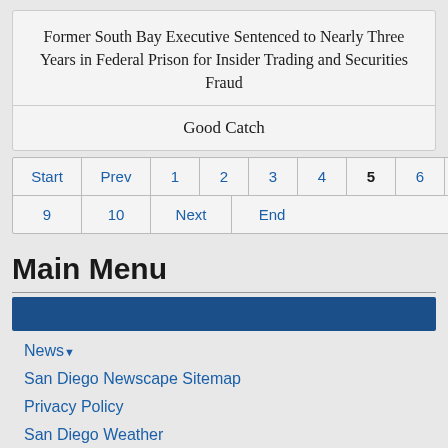Former South Bay Executive Sentenced to Nearly Three Years in Federal Prison for Insider Trading and Securities Fraud
Good Catch
Pagination: Start, Prev, 1, 2, 3, 4, 5, 6, 7, 8, 9, 10, Next, End
Main Menu
News▾
San Diego Newscape Sitemap
Privacy Policy
San Diego Weather